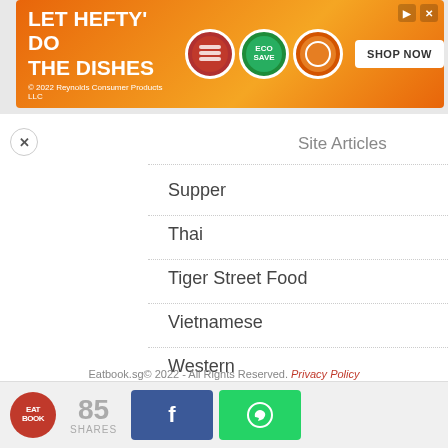[Figure (screenshot): Advertisement banner for Hefty dish products with orange background. Text reads 'LET HEFTY DO THE DISHES' with product images and 'SHOP NOW' button.]
Site Articles
Supper
Thai
Tiger Street Food
Vietnamese
Western
Eatbook.sg© 2022 - All Rights Reserved. Privacy Policy